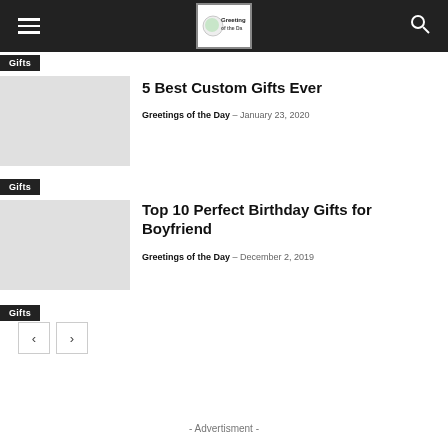Greetings of the Day - navigation bar
Gifts
5 Best Custom Gifts Ever
Greetings of the Day – January 23, 2020
Gifts
Top 10 Perfect Birthday Gifts for Boyfriend
Greetings of the Day – December 2, 2019
Gifts
- Advertisment -